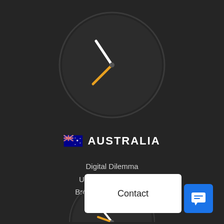[Figure (illustration): Analog clock face rendered in dark circular style with white hour hand and orange minute hand on dark background]
🇦🇺  AUSTRALIA
Digital Dilemma
Unit 215, 20 Dale st
Brookvale, NSW 2100
Australia
[Figure (illustration): Contact button (white rectangle) and chat icon button (blue square with speech bubble) in bottom right corner]
[Figure (illustration): Partial clock at bottom of page showing white and orange hands]